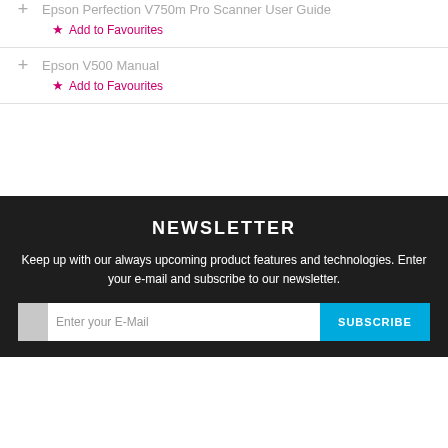Epson Perfection V750m Pro Scanner User Guide — Add to Favourites
Epson V500 Manual — Add to Favourites
NEWSLETTER
Keep up with our always upcoming product features and technologies. Enter your e-mail and subscribe to our newsletter.